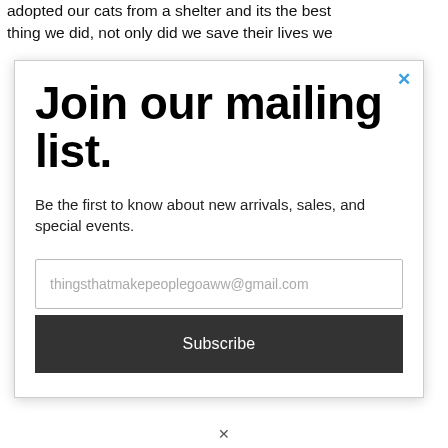adopted our cats from a shelter and its the best thing we did, not only did we save their lives we
Join our mailing list.
Be the first to know about new arrivals, sales, and special events.
thingsthatmakepeoplegoaww@gmail.com
Subscribe